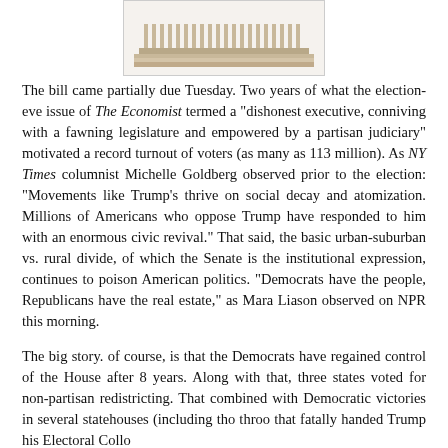[Figure (illustration): Partial image of what appears to be a government building (Capitol) shown from below, cropped at top of page]
The bill came partially due Tuesday. Two years of what the election-eve issue of The Economist termed a "dishonest executive, conniving with a fawning legislature and empowered by a partisan judiciary" motivated a record turnout of voters (as many as 113 million). As NY Times columnist Michelle Goldberg observed prior to the election: "Movements like Trump's thrive on social decay and atomization. Millions of Americans who oppose Trump have responded to him with an enormous civic revival." That said, the basic urban-suburban vs. rural divide, of which the Senate is the institutional expression, continues to poison American politics. "Democrats have the people, Republicans have the real estate," as Mara Liason observed on NPR this morning.
The big story. of course, is that the Democrats have regained control of the House after 8 years. Along with that, three states voted for non-partisan redistricting. That combined with Democratic victories in several statehouses (including the three that fatally handed Trump his Electoral College...